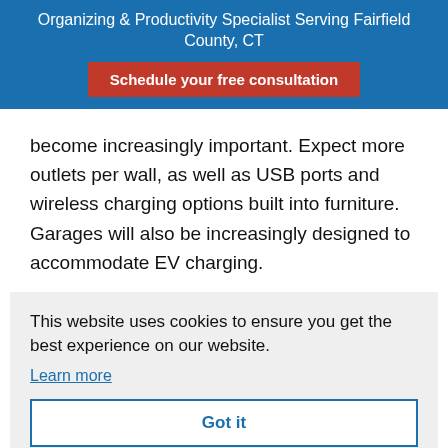Organizing & Productivity Specialist Serving Fairfield County, CT
Schedule your free consultation
become increasingly important. Expect more outlets per wall, as well as USB ports and wireless charging options built into furniture. Garages will also be increasingly designed to accommodate EV charging.
This website uses cookies to ensure you get the best experience on our website.
Learn more
Got it
year for planned or unplanned downtime. Since